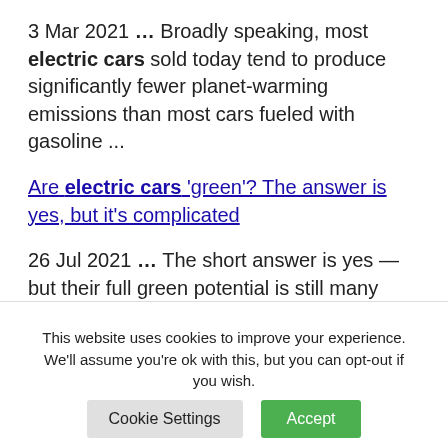3 Mar 2021 ... Broadly speaking, most electric cars sold today tend to produce significantly fewer planet-warming emissions than most cars fueled with gasoline ...
Are electric cars 'green'? The answer is yes, but it's complicated
26 Jul 2021 ... The short answer is yes — but their full green potential is still many years away. Experts broadly
This website uses cookies to improve your experience. We'll assume you're ok with this, but you can opt-out if you wish.